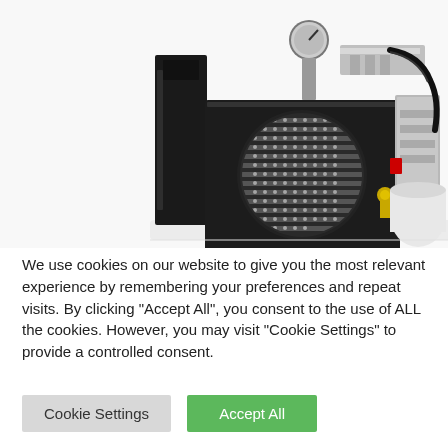[Figure (photo): Close-up photo of an industrial air compressor machine with a black housing, circular ventilation grille with metallic mesh, pressure gauge on top, brass fittings, wiring, and mechanical components visible on the right side against a white background.]
We use cookies on our website to give you the most relevant experience by remembering your preferences and repeat visits. By clicking "Accept All", you consent to the use of ALL the cookies. However, you may visit "Cookie Settings" to provide a controlled consent.